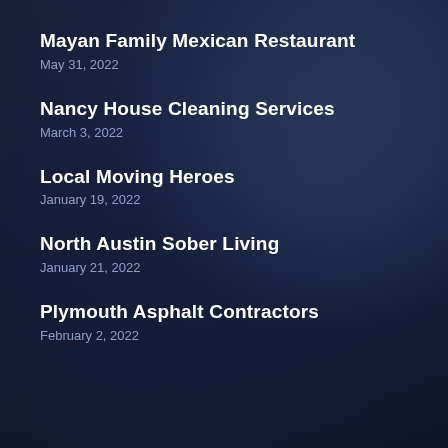Mayan Family Mexican Restaurant
May 31, 2022
Nancy House Cleaning Services
March 3, 2022
Local Moving Heroes
January 19, 2022
North Austin Sober Living
January 21, 2022
Plymouth Asphalt Contractors
February 2, 2022